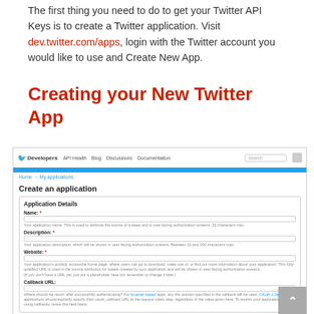The first thing you need to do to get your Twitter API Keys is to create a Twitter application. Visit dev.twitter.com/apps, login with the Twitter account you would like to use and Create New App.
Creating your New Twitter App
[Figure (screenshot): Screenshot of the Twitter Developers page showing the 'Create an application' form with fields for Application Details including Name, Description, Website, and Callback URL.]